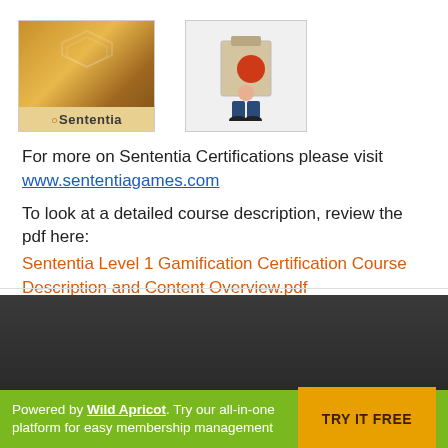[Figure (illustration): Two images side by side: left is a Sententia branded gold/bronze hexagonal badge logo with text 'eSententia'; right is a cartoon illustration of a person holding a clipboard with a red stamp.]
For more on Sententia Certifications please visit www.sententiagames.com
To look at a detailed course description, review the pdf here: Sententia Level 1 Gamification Certification Course Description and Content Overview.pdf
Powered by Wild Apricot. Try our all-in-one platform for easy membership management  TRY IT FREE